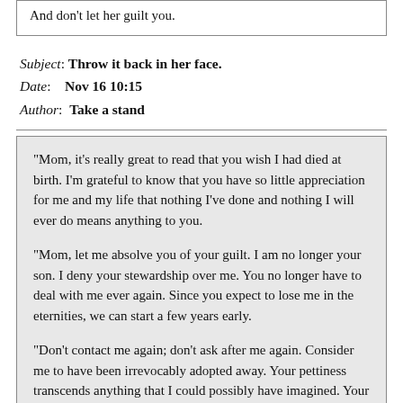And don't let her guilt you.
Subject: Throw it back in her face.
Date: Nov 16 10:15
Author: Take a stand
"Mom, it's really great to read that you wish I had died at birth. I'm grateful to know that you have so little appreciation for me and my life that nothing I've done and nothing I will ever do means anything to you.

"Mom, let me absolve you of your guilt. I am no longer your son. I deny your stewardship over me. You no longer have to deal with me ever again. Since you expect to lose me in the eternities, we can start a few years early.

"Don't contact me again; don't ask after me again. Consider me to have been irrevocably adopted away. Your pettiness transcends anything that I could possibly have imagined. Your weird cultish beliefs have not merely driven a wedge between you and your children, but they've almost made it